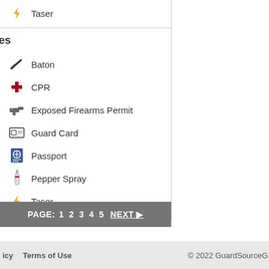Taser
es
Baton
CPR
Exposed Firearms Permit
Guard Card
Passport
Pepper Spray
Taser
PAGE: 1 2 3 4 5 NEXT ▶
icy   Terms of Use   © 2022 GuardSourceG